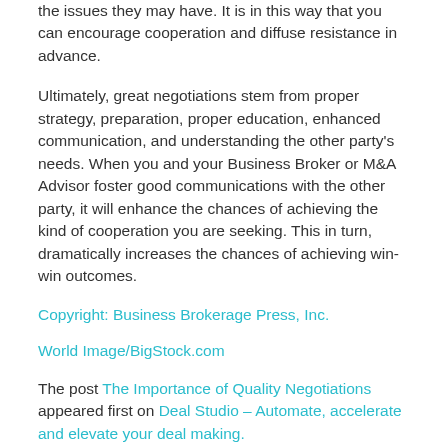the issues they may have. It is in this way that you can encourage cooperation and diffuse resistance in advance.
Ultimately, great negotiations stem from proper strategy, preparation, proper education, enhanced communication, and understanding the other party's needs. When you and your Business Broker or M&A Advisor foster good communications with the other party, it will enhance the chances of achieving the kind of cooperation you are seeking. This in turn, dramatically increases the chances of achieving win-win outcomes.
Copyright: Business Brokerage Press, Inc.
World Image/BigStock.com
The post The Importance of Quality Negotiations appeared first on Deal Studio – Automate, accelerate and elevate your deal making.